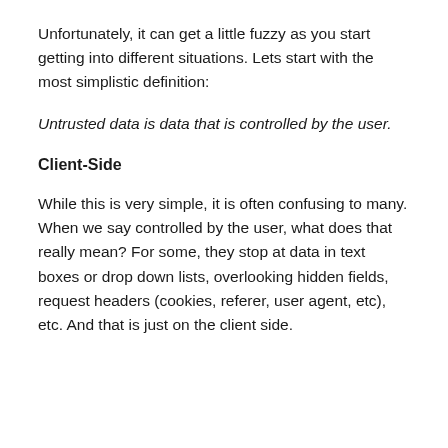Unfortunately, it can get a little fuzzy as you start getting into different situations. Lets start with the most simplistic definition:
Untrusted data is data that is controlled by the user.
Client-Side
While this is very simple, it is often confusing to many. When we say controlled by the user, what does that really mean? For some, they stop at data in text boxes or drop down lists, overlooking hidden fields, request headers (cookies, referer, user agent, etc), etc. And that is just on the client side.